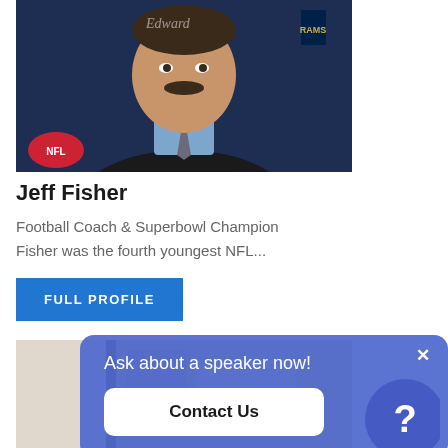[Figure (photo): Headshot of Jeff Fisher, a man with a mustache wearing a dark suit and blue shirt, in front of a navy blue background with NFL and team logos]
Jeff Fisher
Football Coach & Superbowl Champion
Fisher was the fourth youngest NFL...
FULL PROFILE
[Figure (photo): Partial view of a second photo, partially obscured by a popup overlay]
Ask about a speaker now!
Contact Us